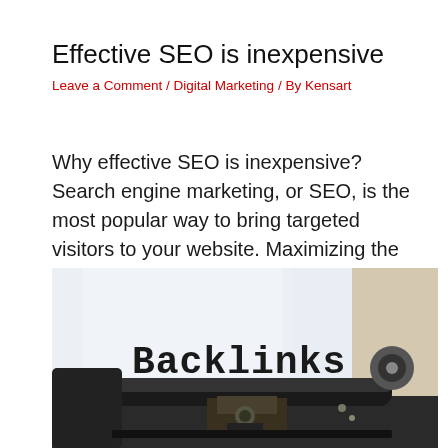Effective SEO is inexpensive
Leave a Comment / Digital Marketing / By Kensart
Why effective SEO is inexpensive? Search engine marketing, or SEO, is the most popular way to bring targeted visitors to your website. Maximizing the benefits…
[Figure (photo): A typewriter with a white page inserted showing the word 'Backlinks' typed on it in a serif typewriter font. The typewriter is dark/black metal and the background is beige/tan.]